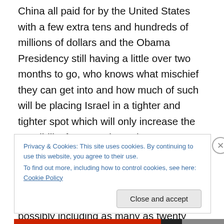China all paid for by the United States with a few extra tens and hundreds of millions of dollars and the Obama Presidency still having a little over two months to go, who knows what mischief they can get into and how much of such will be placing Israel in a tighter and tighter spot which will only increase the possibility for war. History has proven that when a nation arms up and modernizes their military and triples their credible force projection, these new guns and jets and missiles and everything else possibly including as many as twenty deliverable nuclear devices and Iran just sitting on all that hardware just does
Privacy & Cookies: This site uses cookies. By continuing to use this website, you agree to their use.
To find out more, including how to control cookies, see here: Cookie Policy